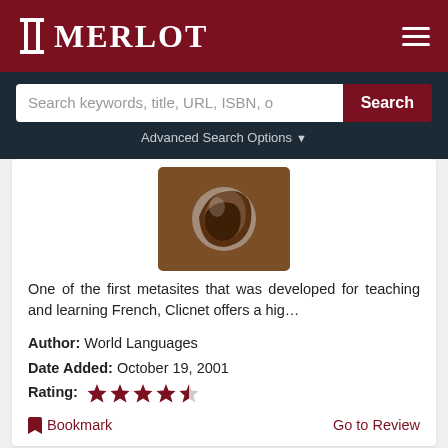MERLOT
[Figure (screenshot): MERLOT website search interface with dark navy background, search input field, Search button in dark red, and Advanced Search Options dropdown]
[Figure (illustration): Globe icon on brown background representing a world languages resource]
One of the first metasites that was developed for teaching and learning French, Clicnet offers a hig…
Author: World Languages
Date Added: October 19, 2001
Rating: 4.5 stars
Bookmark    Go to Review
Review: English-Zone.Com